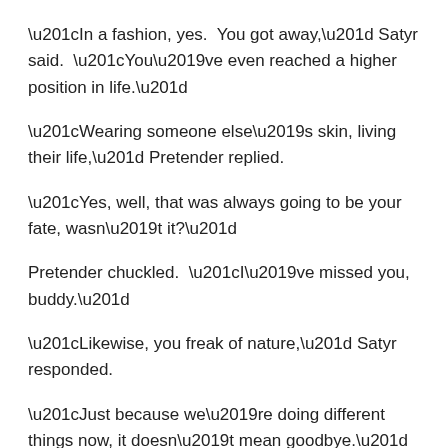“In a fashion, yes.  You got away,” Satyr said.  “You’ve even reached a higher position in life.”
“Wearing someone else’s skin, living their life,” Pretender replied.
“Yes, well, that was always going to be your fate, wasn’t it?”
Pretender chuckled.  “I’ve missed you, buddy.”
“Likewise, you freak of nature,” Satyr responded.
“Just because we’re doing different things now, it doesn’t mean goodbye.”
“Good.”